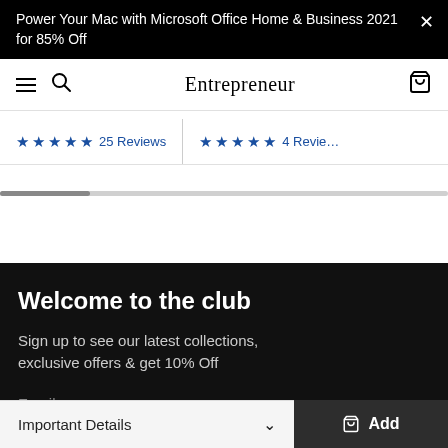Power Your Mac with Microsoft Office Home & Business 2021 for 85% Off
Entrepreneur
★★★★★ 25 Reviews
★★★★★ 4 Reviews
Welcome to the club
Sign up to see our latest collections, exclusive offers & get 10% Off
Email
Important Details  Add